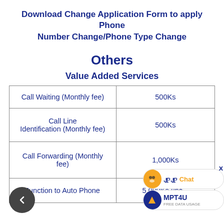Download Change Application Form to apply Phone Number Change/Phone Type Change
Others
Value Added Services
| Service | Fee |
| --- | --- |
| Call Waiting (Monthly fee) | 500Ks |
| Call Line Identification (Monthly fee) | 500Ks |
| Call Forwarding (Monthly fee) | 1,000Ks |
| Junction to Auto Phone | 5,000Ks (inc...) |